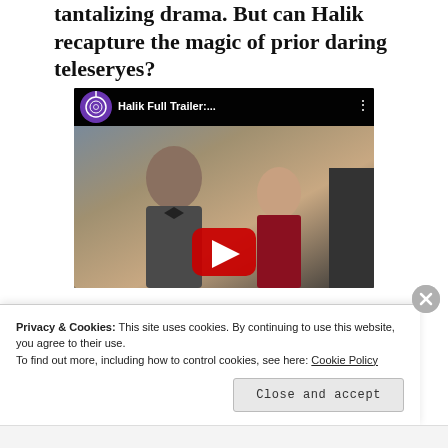tantalizing drama. But can Halik recapture the magic of prior daring teleseryes?
[Figure (screenshot): YouTube video thumbnail for 'Halik Full Trailer:...' showing two actors in formal attire with ABS-CBN Entertainment channel logo and a red play button overlay]
Privacy & Cookies: This site uses cookies. By continuing to use this website, you agree to their use.
To find out more, including how to control cookies, see here: Cookie Policy
Close and accept